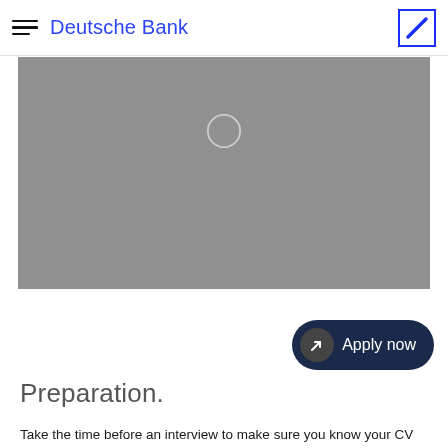Deutsche Bank
[Figure (photo): Grey video placeholder with a circular play button icon in the upper center area]
Preparation.
Take the time before an interview to make sure you know your CV